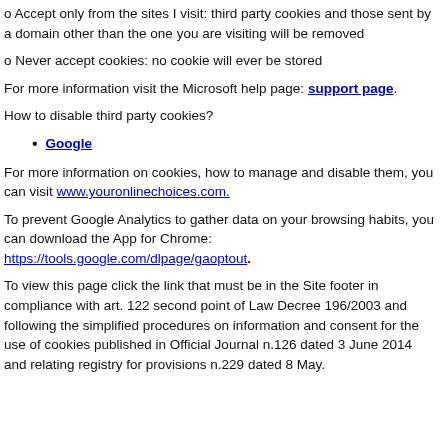o Accept only from the sites I visit: third party cookies and those sent by a domain other than the one you are visiting will be removed
o Never accept cookies: no cookie will ever be stored
For more information visit the Microsoft help page: support page.
How to disable third party cookies?
Google
For more information on cookies, how to manage and disable them, you can visit www.youronlinechoices.com.
To prevent Google Analytics to gather data on your browsing habits, you can download the App for Chrome: https://tools.google.com/dlpage/gaoptout.
To view this page click the link that must be in the Site footer in compliance with art. 122 second point of Law Decree 196/2003 and following the simplified procedures on information and consent for the use of cookies published in Official Journal n.126 dated 3 June 2014 and relating registry for provisions n.229 dated 8 May.